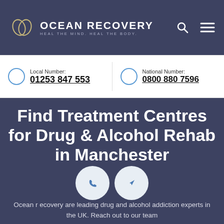OCEAN RECOVERY — HEAL THE MIND. HEAL THE BODY.
Local Number: 01253 847 553
National Number: 0800 880 7596
Find Treatment Centres for Drug & Alcohol Rehab in Manchester
Ocean recovery are leading drug and alcohol addiction experts in the UK. Reach out to our team